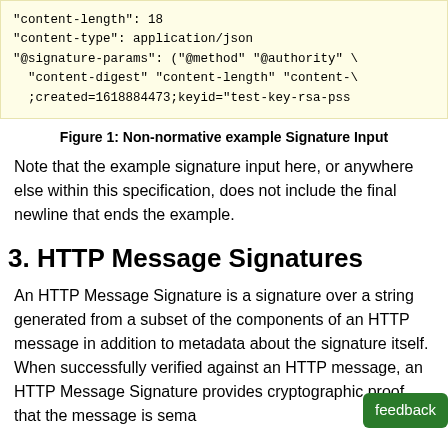[Figure (screenshot): Code block showing HTTP signature input lines including content-length, content-type, @signature-params fields with values and parameters]
Figure 1: Non-normative example Signature Input
Note that the example signature input here, or anywhere else within this specification, does not include the final newline that ends the example.
3. HTTP Message Signatures
An HTTP Message Signature is a signature over a string generated from a subset of the components of an HTTP message in addition to metadata about the signature itself. When successfully verified against an HTTP message, an HTTP Message Signature provides cryptographic proof that the message is sema